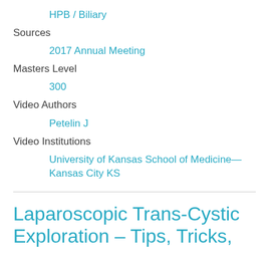HPB / Biliary
Sources
2017 Annual Meeting
Masters Level
300
Video Authors
Petelin J
Video Institutions
University of Kansas School of Medicine—Kansas City KS
Laparoscopic Trans-Cystic Exploration – Tips, Tricks,